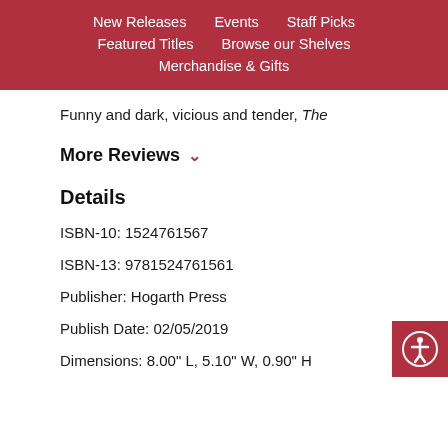New Releases  Events  Staff Picks  Featured Titles  Browse our Shelves  Merchandise & Gifts
Funny and dark, vicious and tender, The
More Reviews
Details
ISBN-10: 1524761567
ISBN-13: 9781524761561
Publisher: Hogarth Press
Publish Date: 02/05/2019
Dimensions: 8.00" L, 5.10" W, 0.90" H